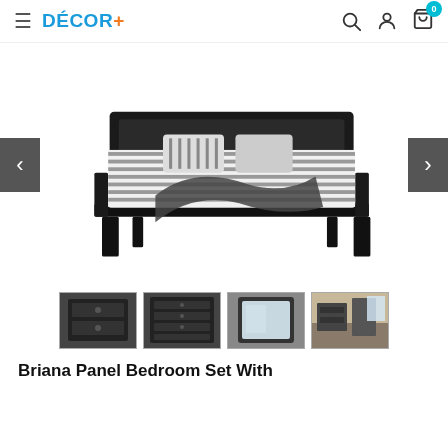DÉCOR+ [hamburger, search, account, cart: 0]
[Figure (photo): Black panel bed with upholstered headboard, white and grey striped bedding, and a dark throw blanket draped across the foot of the bed. Black wooden frame with block feet.]
[Figure (photo): Thumbnail 1: black nightstand with two drawers]
[Figure (photo): Thumbnail 2: black dresser with multiple drawers]
[Figure (photo): Thumbnail 3: rectangular mirror with black frame]
[Figure (photo): Thumbnail 4: bedroom set room scene with dresser and mirror]
Briana Panel Bedroom Set With